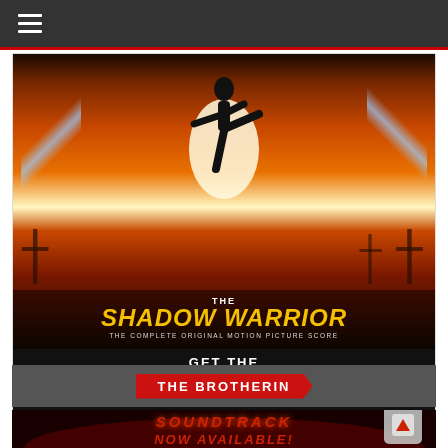≡ (navigation menu)
[Figure (illustration): Advertisement for 'The Shadow Warrior - The Complete Original Motion Picture Score' digital album. Shows a silhouette of a martial artist mid-kick against a fiery orange/yellow sky with lightning bolts. Text reads: THE / SHADOW WARRIOR / THE COMPLETE ORIGINAL MOTION PICTURE SCORE / GET THE / DIGITAL ALBUM / D4DISGRUNTLED.BANDCAMP.COM]
THE BROTHERIN
[Figure (illustration): Partial view of a dark red/black atmospheric image with text 'SOUNDTRACK NOW AVAILABLE!' in large styled red lettering. Appears to be a movie soundtrack advertisement.]